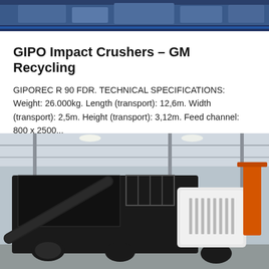[Figure (photo): Top banner image showing industrial crushing equipment, partially visible at top of page with dark blue border bar]
GIPO Impact Crushers - GM Recycling
GIPOREC R 90 FDR. TECHNICAL SPECIFICATIONS: Weight: 26.000kg. Length (transport): 12,6m. Width (transport): 2,5m. Height (transport): 3,12m. Feed channel: 800 x 2500...
[Figure (photo): Photo of a large GIPO mobile impact crusher machine inside an industrial warehouse/factory building, showing the heavy black steel frame, conveyor belt, and white engine housing, with an orange crane visible in the background]